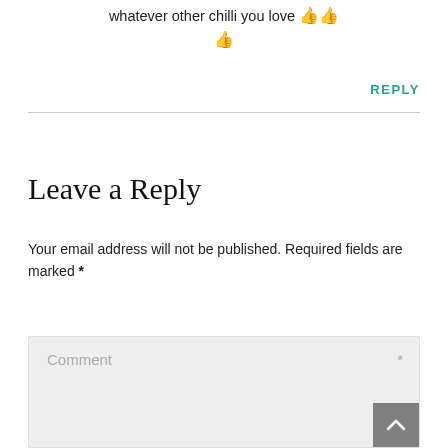whatever other chilli you love 👍👍👍
REPLY
Leave a Reply
Your email address will not be published. Required fields are marked *
[Figure (screenshot): Comment text area input box with placeholder text 'Comment' and asterisk, plus a scroll-to-top button]